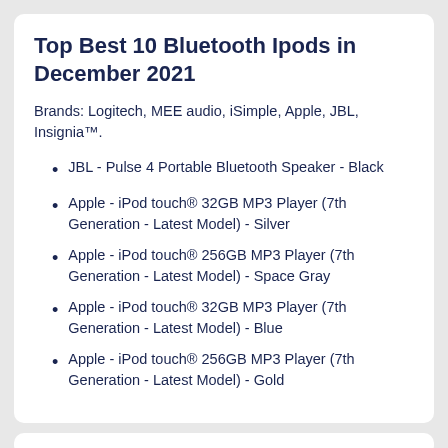Top Best 10 Bluetooth Ipods in December 2021
Brands: Logitech, MEE audio, iSimple, Apple, JBL, Insignia™.
JBL - Pulse 4 Portable Bluetooth Speaker - Black
Apple - iPod touch® 32GB MP3 Player (7th Generation - Latest Model) - Silver
Apple - iPod touch® 256GB MP3 Player (7th Generation - Latest Model) - Space Gray
Apple - iPod touch® 32GB MP3 Player (7th Generation - Latest Model) - Blue
Apple - iPod touch® 256GB MP3 Player (7th Generation - Latest Model) - Gold